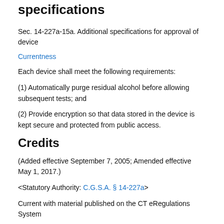specifications
Sec. 14-227a-15a. Additional specifications for approval of device
Currentness
Each device shall meet the following requirements:
(1) Automatically purge residual alcohol before allowing subsequent tests; and
(2) Provide encryption so that data stored in the device is kept secure and protected from public access.
Credits
(Added effective September 7, 2005; Amended effective May 1, 2017.)
<Statutory Authority: C.G.S.A. § 14-227a>
Current with material published on the CT eRegulations System